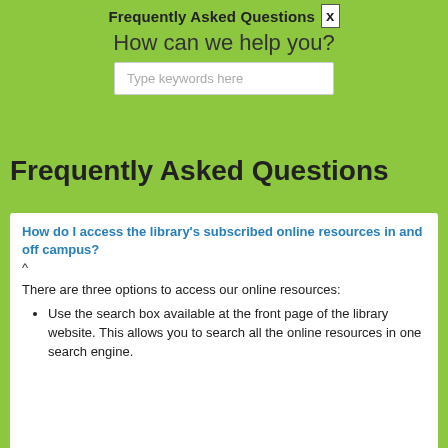Frequently Asked Questions  x
How can we help you?
Type keywords here
Frequently Asked Questions
How do I access the library’s subscribed online resources in and off campus?
^
There are three options to access our online resources:
Use the search box available at the front page of the library website. This allows you to search all the online resources in one search engine.